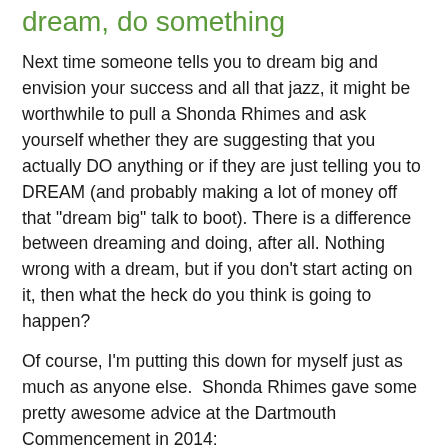dream, do something
Next time someone tells you to dream big and envision your success and all that jazz, it might be worthwhile to pull a Shonda Rhimes and ask yourself whether they are suggesting that you actually DO anything or if they are just telling you to DREAM (and probably making a lot of money off that "dream big" talk to boot). There is a difference between dreaming and doing, after all. Nothing wrong with a dream, but if you don't start acting on it, then what the heck do you think is going to happen?
Of course, I'm putting this down for myself just as much as anyone else.  Shonda Rhimes gave some pretty awesome advice at the Dartmouth Commencement in 2014:
"When people give these kinds of speeches, they usually tell you all kinds of wise and heartfelt things. When people give these kinds of speeches, they usually tell you all kinds of wise and heartfelt things. They have wisdom to impart. They have lessons to share. They tell you: Follow your dreams. Listen to your spirit. Change the world. Make your mark. Find your happiness. This is your time. Carpe diem."